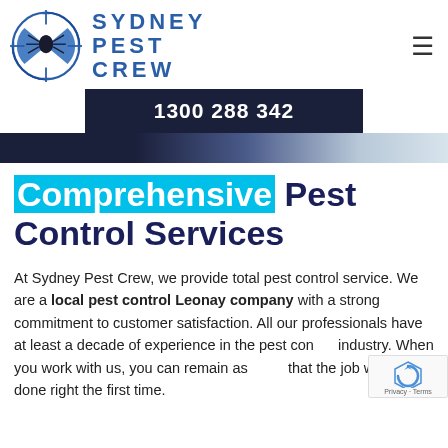[Figure (logo): Sydney Pest Crew logo: spider in crosshair circle with blue tones, beside brand name SYDNEY PEST CREW in blue bold letters]
1300 288 342
[Figure (map): Thin map strip banner fading from dark navy to light blue/grey]
Comprehensive Pest Control Services
At Sydney Pest Crew, we provide total pest control service. We are a local pest control Leonay company with a strong commitment to customer satisfaction. All our professionals have at least a decade of experience in the pest control industry. When you work with us, you can remain assured that the job will be done right the first time.